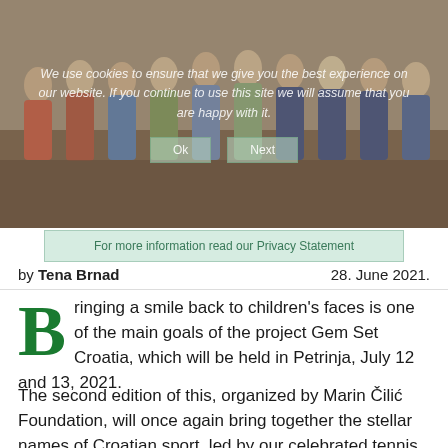[Figure (photo): Group photo of people at an event, partially obscured by a cookie consent overlay with text: 'We use cookies to ensure that we give you the best experience on our website. If you continue to use this site we will assume that you are happy with it.' with Ok and Next buttons.]
For more information read our Privacy Statement
by Tena Brnad   28. June 2021.
Bringing a smile back to children's faces is one of the main goals of the project Gem Set Croatia, which will be held in Petrinja, July 12 and 13, 2021.
The second edition of this, organized by Marin Čilić Foundation, will once again bring together the stellar names of Croatian sport, led by our celebrated tennis player Marin Čilić, and all together will enable the children of Sisak-Moslavina County to socialize and